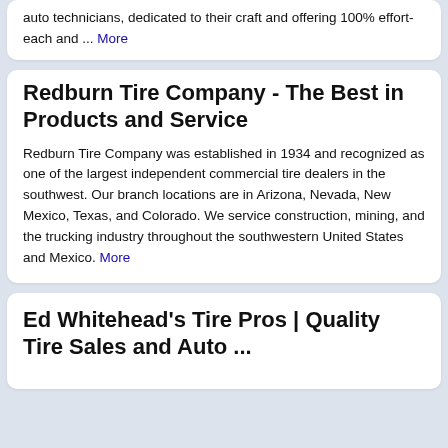auto technicians, dedicated to their craft and offering 100% effort- each and ... More
Redburn Tire Company - The Best in Products and Service
Redburn Tire Company was established in 1934 and recognized as one of the largest independent commercial tire dealers in the southwest. Our branch locations are in Arizona, Nevada, New Mexico, Texas, and Colorado. We service construction, mining, and the trucking industry throughout the southwestern United States and Mexico. More
Ed Whitehead's Tire Pros | Quality Tire Sales and Auto ...